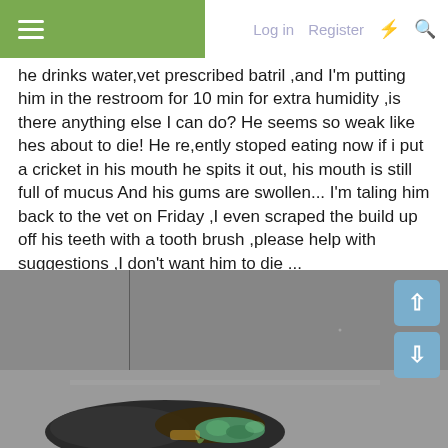Log in  Register  ⚡  🔍
he drinks water,vet prescribed batril ,and I'm putting him in the restroom for 10 min for extra humidity ,is there anything else I can do? He seems so weak like hes about to die! He re,ently stoped eating now if i put a cricket in his mouth he spits it out, his mouth is still full of mucus And his gums are swollen... I'm taling him back to the vet on Friday ,I even scraped the build up off his teeth with a tooth brush ,please help with suggestions ,I don't want him to die ...
[Figure (photo): Photo of a reptile (likely a bearded dragon or lizard) inside an enclosure, wrapped in a dark cloth/towel, showing colorful scales, with grey walls and a wooden-look background visible.]